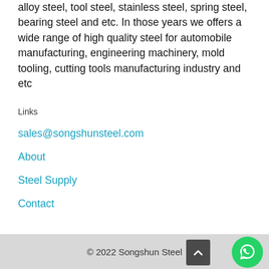alloy steel, tool steel, stainless steel, spring steel, bearing steel and etc. In those years we offers a wide range of high quality steel for automobile manufacturing, engineering machinery, mold tooling, cutting tools manufacturing industry and etc
Links
sales@songshunsteel.com
About
Steel Supply
Contact
© 2022 Songshun Steel